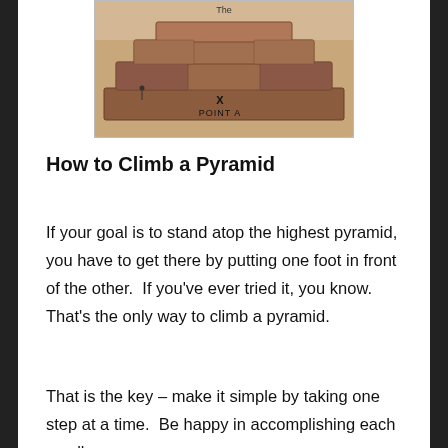[Figure (photo): Photo of a stepped pyramid (likely Mesoamerican or Egyptian style) with handwritten annotations: 'X' and 'POINT A' marking a location at the base, and the word 'The' partially visible at the top.]
How to Climb a Pyramid
If your goal is to stand atop the highest pyramid, you have to get there by putting one foot in front of the other.  If you’ve ever tried it, you know.  That’s the only way to climb a pyramid.
That is the key – make it simple by taking one step at a time.  Be happy in accomplishing each small